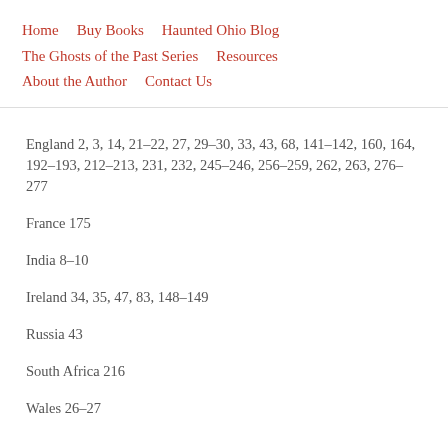Home   Buy Books   Haunted Ohio Blog   The Ghosts of the Past Series   Resources   About the Author   Contact Us
England 2, 3, 14, 21–22, 27, 29–30, 33, 43, 68, 141–142, 160, 164, 192–193, 212–213, 231, 232, 245–246, 256–259, 262, 263, 276–277
France 175
India 8–10
Ireland 34, 35, 47, 83, 148–149
Russia 43
South Africa 216
Wales 26–27